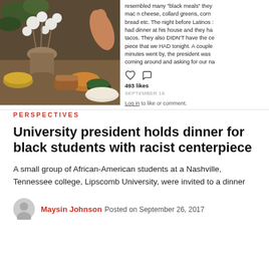[Figure (photo): Photo of a dinner table centerpiece with cotton plants, food including mac and cheese, collard greens, cornbread, and other dishes in bowls and plates.]
[Figure (screenshot): Instagram post screenshot showing text about a dinner that resembled 'black meals' with mac n cheese, collard greens, cornbread etc. and a mention of the night before Latinos dinner with tacos. Shows 493 likes, dated September 18, with Log in to like or comment option.]
PERSPECTIVES
University president holds dinner for black students with racist centerpiece
A small group of African-American students at a Nashville, Tennessee college, Lipscomb University, were invited to a dinner
Maysin Johnson   Posted on September 26, 2017